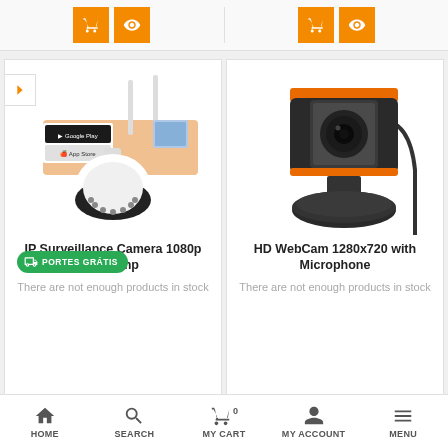[Figure (screenshot): Two orange buttons (cart and eye/view icons) on left side product card top]
[Figure (screenshot): Two orange buttons (cart and eye/view icons) on right side product card top]
[Figure (photo): IP Surveillance Camera 1080p Wifi 2mp product image with PORTES GRÁTIS (free shipping) badge]
IP Surveillance Camera 1080p Wifi 2mp
There are not enough products in stock
[Figure (photo): HD WebCam 1280x720 with Microphone product image - black and orange webcam]
HD WebCam 1280x720 with Microphone
There are not enough products in stock
HOME  SEARCH  MY CART 0  MY ACCOUNT  MENU